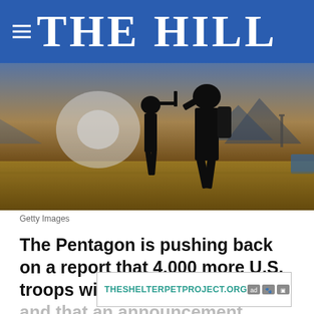THE HILL
[Figure (photo): Silhouette of military soldiers in full combat gear walking on a tarmac or airfield, backlit by bright sunlight with mountains and structures visible in the background. Dark, dramatic lighting.]
Getty Images
The Pentagon is pushing back on a report that 4,000 more U.S. troops will head to Afghanistan and that an announcement about the d
[Figure (other): Advertisement banner for THESHELTERPETPROJECT.ORG with ad choice icons]